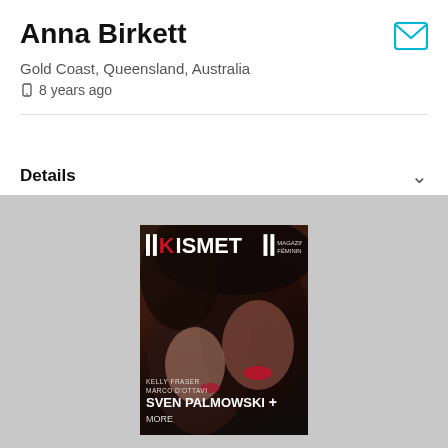Anna Birkett
Gold Coast, Queensland, Australia
8 years ago
Details
[Figure (photo): Magazine cover for KISMET magazine showing two women in a dramatic dark-toned fashion photo. Text reads KELLY FRASER, MARCO D'OTTAVI, SVEN PALMOWSKI + MORE]